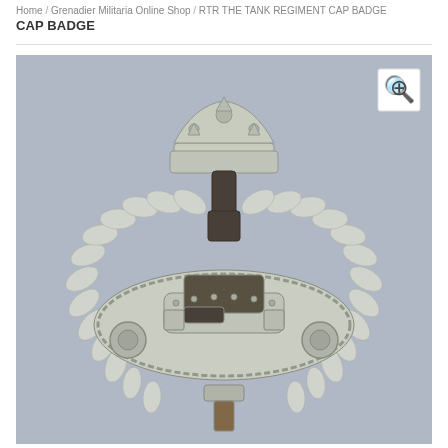Home / Grenadier Militaria Online Shop / RTR THE TANK REGIMENT CAP BADGE
[Figure (photo): Close-up photograph of a silver Royal Tank Regiment cap badge featuring a WWI-style tank in the centre, surrounded by a laurel wreath, topped with a royal crown. The badge is silver/white metal on a grey-blue background. A magnify/zoom icon button appears in the top-right corner of the image.]